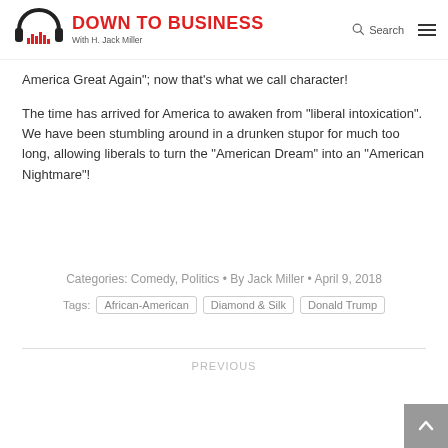DOWN TO BUSINESS With H. Jack Miller
America Great Again”; now that’s what we call character!
The time has arrived for America to awaken from “liberal intoxication”. We have been stumbling around in a drunken stupor for much too long, allowing liberals to turn the “American Dream” into an “American Nightmare”!
Categories: Comedy, Politics • By Jack Miller • April 9, 2018
Tags: African-American | Diamond & Silk | Donald Trump
PREVIOUS